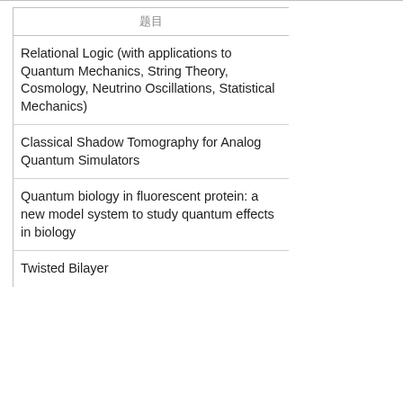| 题目 |  |
| --- | --- |
| Relational Logic (with applications to Quantum Mechanics, String Theory, Cosmology, Neutrino Oscillations, Statistical Mechanics) |  |
| Classical Shadow Tomography for Analog Quantum Simulators |  |
| Quantum biology in fluorescent protein: a new model system to study quantum effects in biology |  |
| Twisted Bilayer |  |